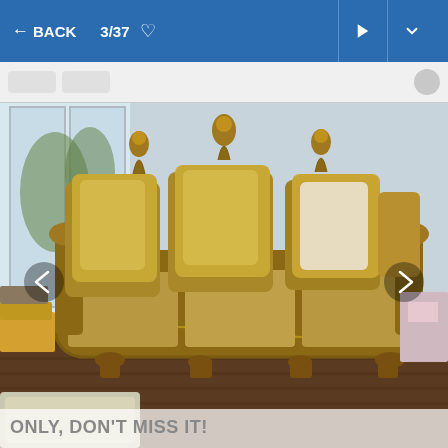← BACK   3/37 ♡
[Figure (screenshot): Screenshot of a marketplace listing showing a large ornate Baroque-style sofa with gold/brown fabric, carved wooden frame with gilt detail, and multiple decorative pillows. The sofa is photographed in a living room setting with a framed painting on the wall behind it. Navigation arrows visible on left and right sides.]
ONLY, DON'T MISS IT!